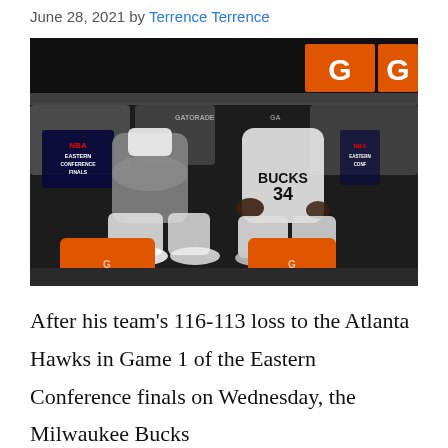June 28, 2021 by Terrence Terrence
[Figure (photo): Two Milwaukee Bucks players sitting on the bench court-side, smiling and talking. One wears a gray long-sleeve shirt with a towel around his neck, the other wears a white Bucks jersey with number 34. Orange Gatorade coolers and arena chairs visible in background.]
After his team's 116-113 loss to the Atlanta Hawks in Game 1 of the Eastern Conference finals on Wednesday, the Milwaukee Bucks